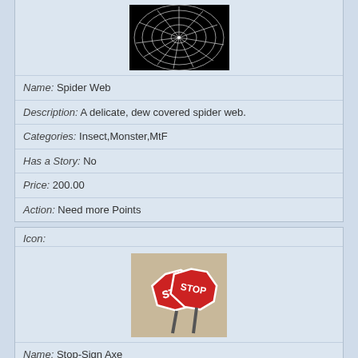[Figure (photo): Spider web image on black background]
Name: Spider Web
Description: A delicate, dew covered spider web.
Categories: Insect,Monster,MtF
Has a Story: No
Price: 200.00
Action: Need more Points
Icon:
[Figure (photo): Stop sign shaped axe weapon, two red stop signs crossed]
Name: Stop-Sign Axe
Description: A heavy weapon to be used in the wasteland.
Categories: FtM
Has a Story: No
Price: 200.00
Action: Need more Points
Icon:
[Figure (photo): Partially visible icon at bottom of page]